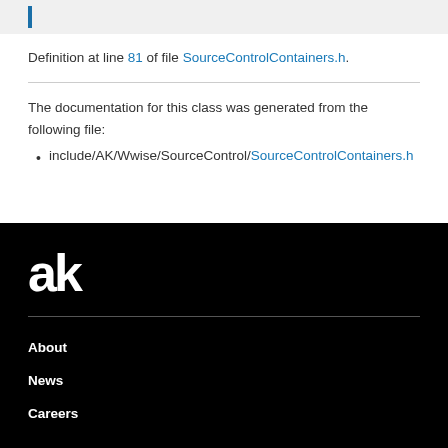Definition at line 81 of file SourceControlContainers.h.
The documentation for this class was generated from the following file:
include/AK/Wwise/SourceControl/SourceControlContainers.h
[Figure (logo): Audiokinetic 'ak' logo in white on black background]
About
News
Careers